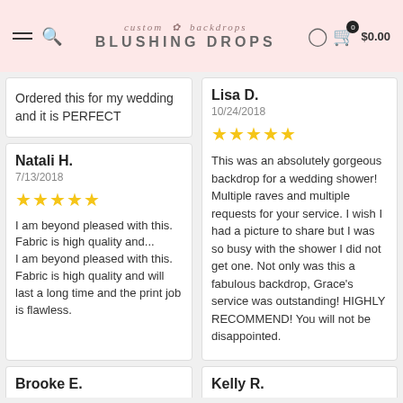custom backdrops BLUSHING DROPS
Ordered this for my wedding and it is PERFECT
Natali H.
7/13/2018
★★★★★
I am beyond pleased with this. Fabric is high quality and...
I am beyond pleased with this. Fabric is high quality and will last a long time and the print job is flawless.
Brooke E.
Lisa D.
10/24/2018
★★★★★
This was an absolutely gorgeous backdrop for a wedding shower! Multiple raves and multiple requests for your service. I wish I had a picture to share but I was so busy with the shower I did not get one. Not only was this a fabulous backdrop, Grace's service was outstanding! HIGHLY RECOMMEND! You will not be disappointed.
Kelly R.